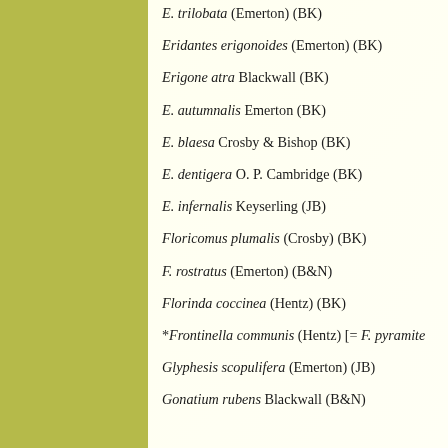E. trilobata (Emerton) (BK)
Eridantes erigonoides (Emerton) (BK)
Erigone atra Blackwall (BK)
E. autumnalis Emerton (BK)
E. blaesa Crosby & Bishop (BK)
E. dentigera O. P. Cambridge (BK)
E. infernalis Keyserling (JB)
Floricomus plumalis (Crosby) (BK)
F. rostratus (Emerton) (B&N)
Florinda coccinea (Hentz) (BK)
*Frontinella communis (Hentz) [= F. pyramite
Glyphesis scopulifera (Emerton) (JB)
Gonatium rubens Blackwall (B&N)